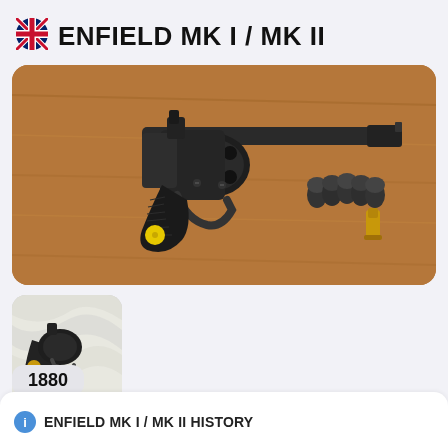🇬🇧 ENFIELD MK I / MK II
[Figure (photo): Photo of an Enfield MK I / MK II revolver pistol in dark blue-black finish with black grip featuring a yellow dot, lying on a wooden surface. Several bullets are placed to the right of the gun along with a brass cartridge.]
[Figure (photo): Thumbnail photo of an Enfield revolver, showing grip and cylinder detail against a light marble-like surface.]
1880
ENFIELD MK I / MK II HISTORY